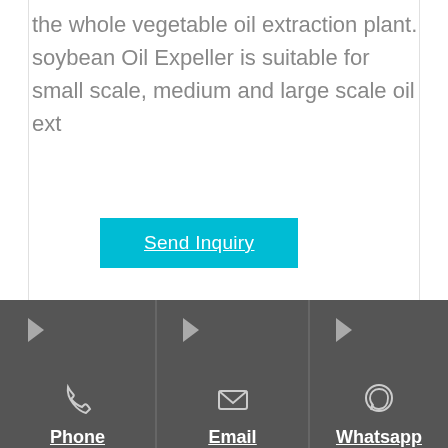the whole vegetable oil extraction plant. soybean Oil Expeller is suitable for small scale, medium and large scale oil ext
Send Inquiry
[Figure (photo): Industrial vegetable oil extraction plant with multiple silver cylindrical tanks and a blue vertical tank, connected by pipes and red rails]
Phone
Email
Whatsapp